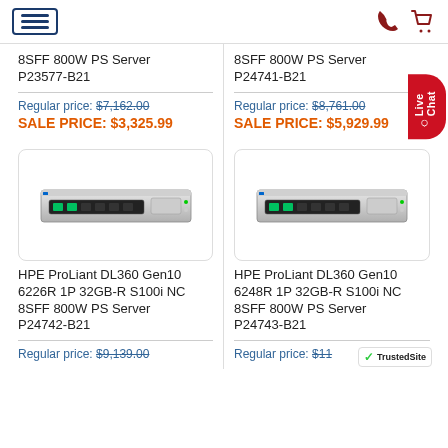Navigation header with menu, phone, and cart icons
8SFF 800W PS Server P23577-B21
8SFF 800W PS Server P24741-B21
Regular price: $7,162.00
SALE PRICE: $3,325.99
Regular price: $8,761.00
SALE PRICE: $5,929.99
[Figure (photo): HPE ProLiant DL360 Gen10 server unit, 1U rack server with green drive bay indicators]
[Figure (photo): HPE ProLiant DL360 Gen10 server unit, 1U rack server with green drive bay indicators]
HPE ProLiant DL360 Gen10 6226R 1P 32GB-R S100i NC 8SFF 800W PS Server P24742-B21
HPE ProLiant DL360 Gen10 6248R 1P 32GB-R S100i NC 8SFF 800W PS Server P24743-B21
Regular price: $9,139.00
Regular price: $11...